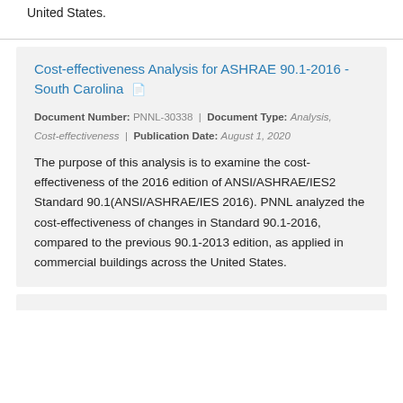United States.
Cost-effectiveness Analysis for ASHRAE 90.1-2016 - South Carolina
Document Number: PNNL-30338 | Document Type: Analysis, Cost-effectiveness | Publication Date: August 1, 2020
The purpose of this analysis is to examine the cost-effectiveness of the 2016 edition of ANSI/ASHRAE/IES2 Standard 90.1(ANSI/ASHRAE/IES 2016). PNNL analyzed the cost-effectiveness of changes in Standard 90.1-2016, compared to the previous 90.1-2013 edition, as applied in commercial buildings across the United States.